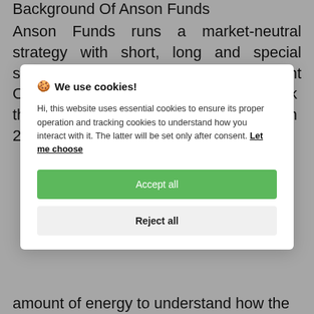Background Of Anson Funds
Anson Funds runs a market-neutral strategy with short, long and special situations strategies. Chief Investment Officer Moez Kassam told ValueWalk they had a big moment in March 2020 when
[Figure (screenshot): Cookie consent modal dialog with title '🍪 We use cookies!', body text about essential and tracking cookies, 'Let me choose' link, 'Accept all' green button, and 'Reject all' grey button]
amount of energy to understand how the